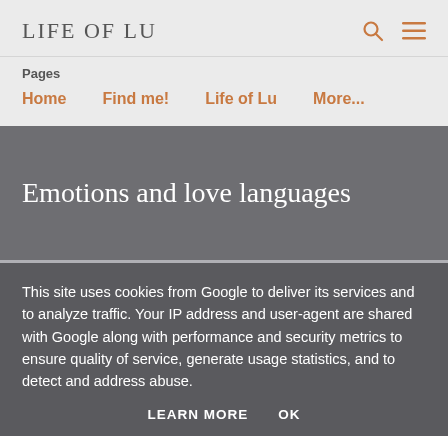LIFE OF LU
Pages
Home    Find me!    Life of Lu    More...
Emotions and love languages
This site uses cookies from Google to deliver its services and to analyze traffic. Your IP address and user-agent are shared with Google along with performance and security metrics to ensure quality of service, generate usage statistics, and to detect and address abuse.
LEARN MORE    OK